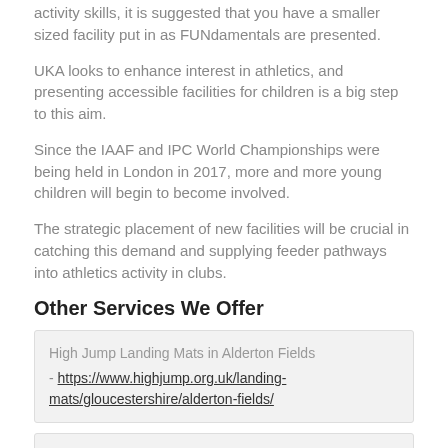activity skills, it is suggested that you have a smaller sized facility put in as FUNdamentals are presented.
UKA looks to enhance interest in athletics, and presenting accessible facilities for children is a big step to this aim.
Since the IAAF and IPC World Championships were being held in London in 2017, more and more young children will begin to become involved.
The strategic placement of new facilities will be crucial in catching this demand and supplying feeder pathways into athletics activity in clubs.
Other Services We Offer
High Jump Landing Mats in Alderton Fields
- https://www.highjump.org.uk/landing-mats/gloucestershire/alderton-fields/
High Jump Fan Surfacing in Alderton Fields
- https://www.highjump.org.uk/high-jump-